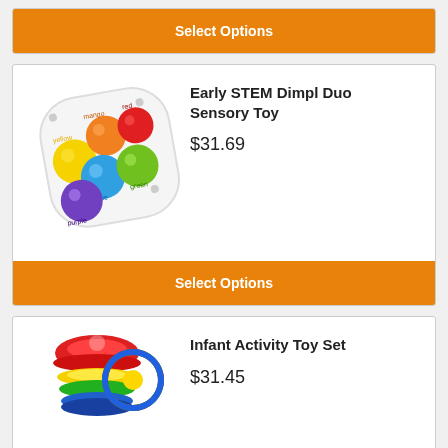[Figure (other): Partial product card showing only a Select Options orange button at the top of the page]
Select Options
[Figure (photo): Early STEM Dimpl Duo Sensory Toy - white square toy with colored bubble buttons: yellow, orange/mango, red, blue, green, purple]
Early STEM Dimpl Duo Sensory Toy
$31.69
Select Options
[Figure (photo): Infant Activity Toy Set - colorful stacking suction cup toy and ball toy]
Infant Activity Toy Set
$31.45